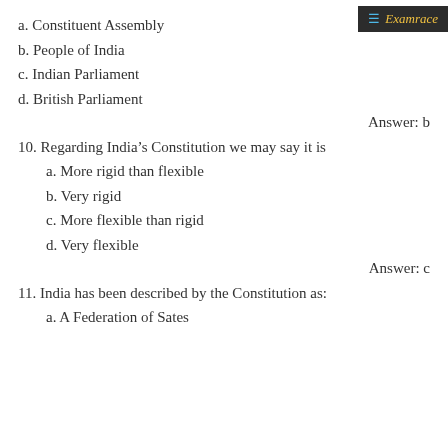a. Constituent Assembly
b. People of India
c. Indian Parliament
d. British Parliament
Answer: b
10. Regarding India’s Constitution we may say it is
a. More rigid than flexible
b. Very rigid
c. More flexible than rigid
d. Very flexible
Answer: c
11. India has been described by the Constitution as:
a. A Federation of Sates